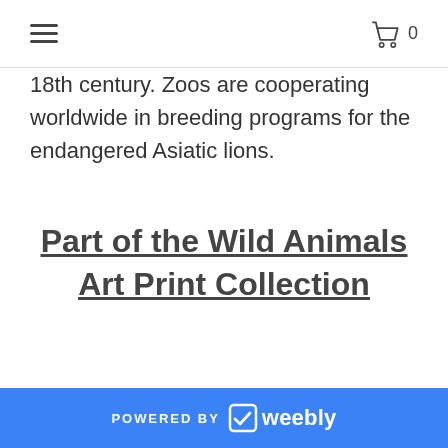☰  0
18th century. Zoos are cooperating worldwide in breeding programs for the endangered Asiatic lions.
Part of the Wild Animals Art Print Collection
Explore More Art Print Collections
POWERED BY weebly